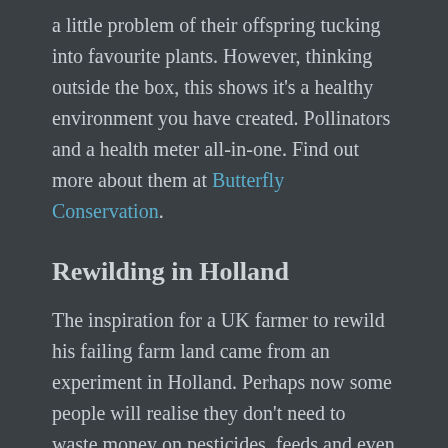a little problem of their offspring tucking into favourite plants. However, thinking outside the box, this shows it's a healthy environment you have created. Pollinators and a health meter all-in-one. Find out more about them at Butterfly Conservation.
Rewilding in Holland
The inspiration for a UK farmer to rewild his failing farm land came from an experiment in Holland. Perhaps now some people will realise they don't need to waste money on pesticides, feeds and even vets' fees, just by letting nature do what it does best, and take care of it's own. Rewilding in Holland.